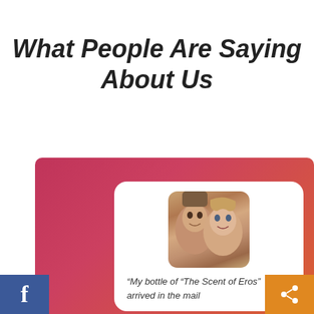What People Are Saying About Us
[Figure (photo): Close-up photo of a couple, a man and a woman with their faces together, inside a white card with rounded corners, placed on a pink-to-orange gradient background panel.]
“My bottle of “The Scent of Eros” arrived in the mail